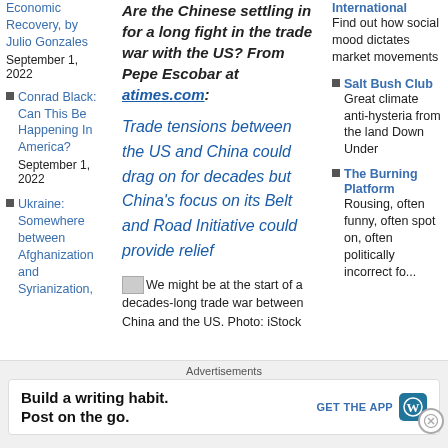Economic Recovery, by Julio Gonzales September 1, 2022
Conrad Black: Can This Be Happening In America? September 1, 2022
Ukraine: Somewhere between Afghanization and Syrianization,
Are the Chinese settling in for a long fight in the trade war with the US? From Pepe Escobar at atimes.com:
Trade tensions between the US and China could drag on for decades but China's focus on its Belt and Road Initiative could provide relief
We might be at the start of a decades-long trade war between China and the US. Photo: iStock
International Find out how social mood dictates market movements
Salt Bush Club Great climate anti-hysteria from the land Down Under
The Burning Platform Rousing, often funny, often spot on, often politically incorrect fo...
Advertisements
Build a writing habit.
Post on the go.
GET THE APP